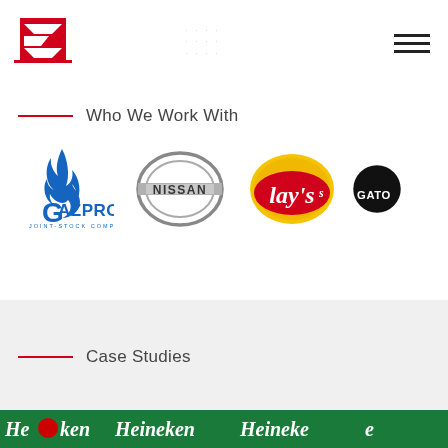[Figure (logo): Company logo with red/white geometric E-like symbol on top of red base line]
Who We Work With
[Figure (logo): Gazprom Joint-Stock Company logo - blue G with flame]
[Figure (logo): Nissan logo - silver circle badge with NISSAN text]
[Figure (logo): Lay's logo - yellow chip bag style with red Lay's text]
[Figure (logo): Gatorade logo - partial black circle with GATO text visible]
Case Studies
[Figure (photo): Heineken branded banner/strip showing repeated Heineken logo text in white on green background]